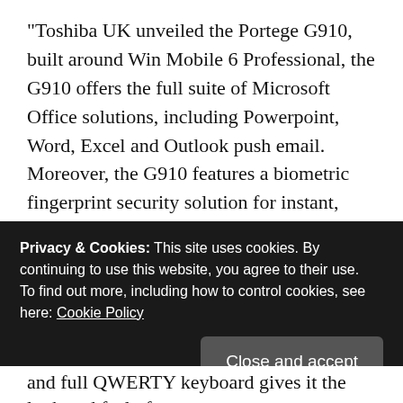“Toshiba UK unveiled the Portege G910, built around Win Mobile 6 Professional, the G910 offers the full suite of Microsoft Office solutions, including Powerpoint, Word, Excel and Outlook push email. Moreover, the G910 features a biometric fingerprint security solution for instant, secure access to the phone, has built in GPS for real-time navigation and has a 3″ Wide-VGA touch screen that is perfect for displaying web pages. It will be available across Europe in the first quarter of 2008.The Portege G910 acts like a ‘mobile hub’ helping users stay connected whether for business or pleasure. From managing emails, accessing the
Privacy & Cookies: This site uses cookies. By continuing to use this website, you agree to their use.
To find out more, including how to control cookies, see here: Cookie Policy
and full QWERTY keyboard gives it the look and feel of a